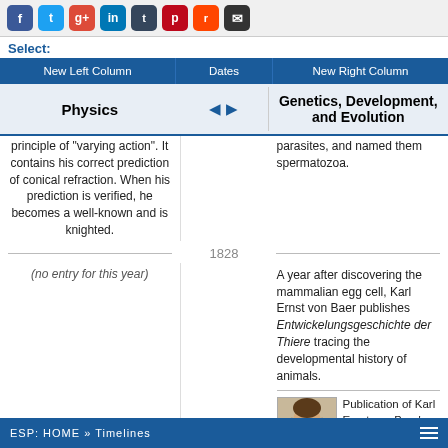Social sharing icons: Facebook, Twitter, Google+, LinkedIn, Tumblr, Pinterest, Reddit, Email
Select:
New Left Column | Dates | New Right Column
Physics | ◀ ▶ | Genetics, Development, and Evolution
principle of 'varying action'. It contains his correct prediction of conical refraction. When his prediction is verified, he becomes a well-known and is knighted.
parasites, and named them spermatozoa.
1828
(no entry for this year)
A year after discovering the mammalian egg cell, Karl Ernst von Baer publishes Entwickelungsgeschichte der Thiere tracing the developmental history of animals.
[Figure (photo): Portrait of Karl Ernst von Baer]
Publication of Karl Ernst von Baer's The Embryology of Animals which strongly opposed preformationism.
1829
ESP: HOME » Timelines